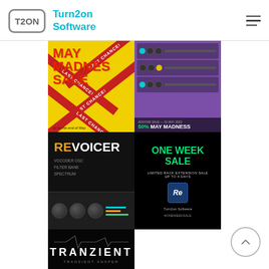Turn2on Software
[Figure (illustration): May Madness Sale promotional image - yellow background with red text 'MAY MADNESS SALE' and red diagonal 'LAST CHANCE' bands, text 'up to the end of May']
[Figure (photo): Purple/blue background with synthesizer/audio plugin hardware units arranged in rows - May Madness 50% addons sale promotion]
[Figure (illustration): Revoicer plugin promotional image - dark background with orange/white 'REVOICER' title, subtitle VOCODER OSC, FILTER BANK, SPECTRUM]
[Figure (illustration): One Week Sale promotional image - black background with green neon 'ONE WEEK SALE', limited rack extension sale up to 4 days, Turn2on Software logo, #ONEWEEKSALE]
[Figure (illustration): Tranzient Transient Shaper plugin promotional image - dark background with white 'TRANZIENT' text and 'TRANSIENT SHAPER' subtitle, plugin interface visible]